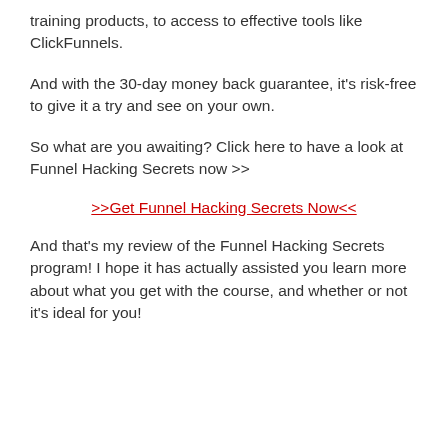training products, to access to effective tools like ClickFunnels.
And with the 30-day money back guarantee, it's risk-free to give it a try and see on your own.
So what are you awaiting? Click here to have a look at Funnel Hacking Secrets now >>
>>Get Funnel Hacking Secrets Now<<
And that's my review of the Funnel Hacking Secrets program! I hope it has actually assisted you learn more about what you get with the course, and whether or not it's ideal for you!